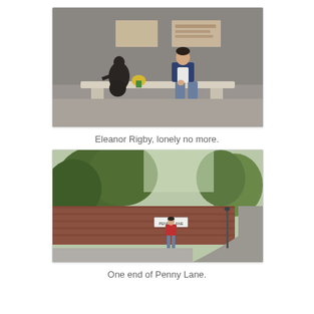[Figure (photo): A person sitting on a stone bench next to the Eleanor Rigby statue in Liverpool. The bronze statue of a woman is on the left side of the bench with yellow flowers. The person is casually seated on the right side, in front of a stone wall with a plaque.]
Eleanor Rigby, lonely no more.
[Figure (photo): A person standing on a street corner next to a Penny Lane street sign mounted on a red brick wall. Trees and a road are visible in the background.]
One end of Penny Lane.